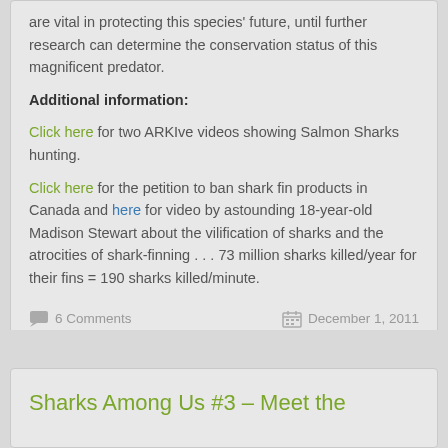are vital in protecting this species' future, until further research can determine the conservation status of this magnificent predator.
Additional information:
Click here for two ARKIve videos showing Salmon Sharks hunting.
Click here for the petition to ban shark fin products in Canada and here for video by astounding 18-year-old Madison Stewart about the vilification of sharks and the atrocities of shark-finning . . . 73 million sharks killed/year for their fins = 190 sharks killed/minute.
6 Comments   December 1, 2011
Sharks Among Us #3 – Meet the